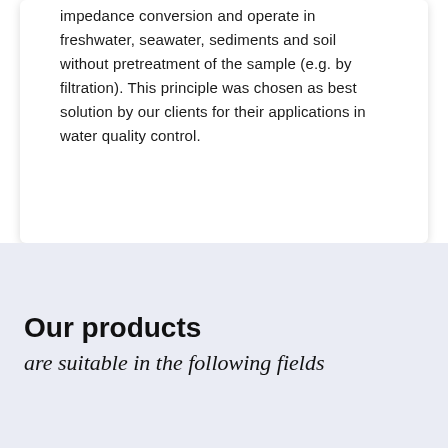impedance conversion and operate in freshwater, seawater, sediments and soil without pretreatment of the sample (e.g. by filtration). This principle was chosen as best solution by our clients for their applications in water quality control.
Our products
are suitable in the following fields